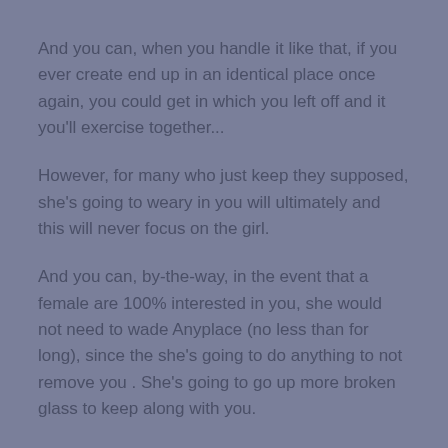And you can, when you handle it like that, if you ever create end up in an identical place once again, you could get in which you left off and it you'll exercise together...
However, for many who just keep they supposed, she's going to weary in you will ultimately and this will never focus on the girl.
And you can, by-the-way, in the event that a female are 100% interested in you, she would not need to wade Anyplace (no less than for long), since the she's going to do anything to not remove you . She's going to go up more broken glass to keep along with you.
Continue you to definitely in your mind before you could rating hung-up with the an excellent lady 3000 miles away otherwise purchase towards the their excuses as to as to